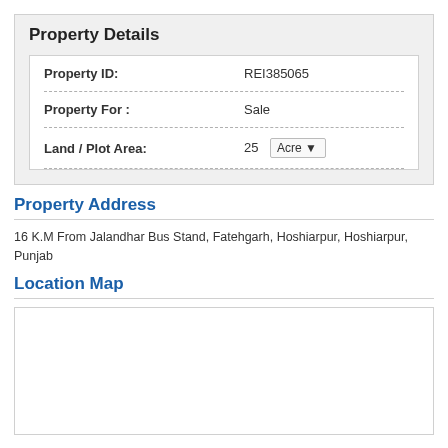Property Details
| Field | Value |
| --- | --- |
| Property ID: | REI385065 |
| Property For : | Sale |
| Land / Plot Area: | 25  Acre ▼ |
Property Address
16 K.M From Jalandhar Bus Stand, Fatehgarh, Hoshiarpur, Hoshiarpur, Punjab
Location Map
[Figure (map): Empty map placeholder area with white background and border]